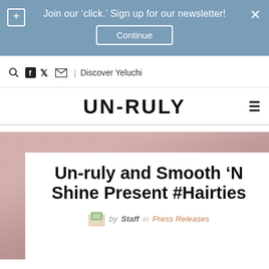Join our 'click.' Sign up for our newsletter! Continue
| Discover Yeluchi
UNRULY
Un-ruly and Smooth ‘N Shine Present #Hairties
by Staff in Press Releases